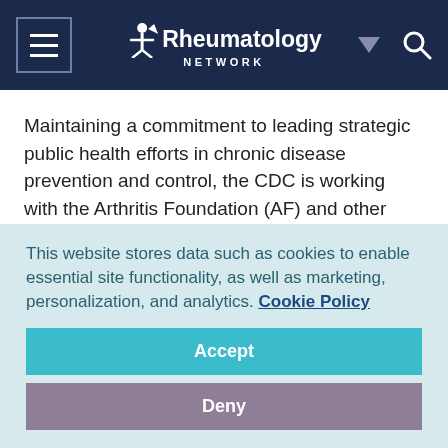Rheumatology Network
Maintaining a commitment to leading strategic public health efforts in chronic disease prevention and control, the CDC is working with the Arthritis Foundation (AF) and other partners in an arthritis program designed to improve the quality of life of the more than 46 million Americans who have this disease. A key component is an effort to change patients' attitudes and behaviors related to self-management (see "Tips for
This website stores data such as cookies to enable essential site functionality, as well as marketing, personalization, and analytics. Cookie Policy
Accept
Deny